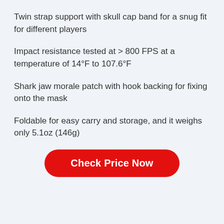Twin strap support with skull cap band for a snug fit for different players
Impact resistance tested at > 800 FPS at a temperature of 14°F to 107.6°F
Shark jaw morale patch with hook backing for fixing onto the mask
Foldable for easy carry and storage, and it weighs only 5.1oz (146g)
Check Price Now